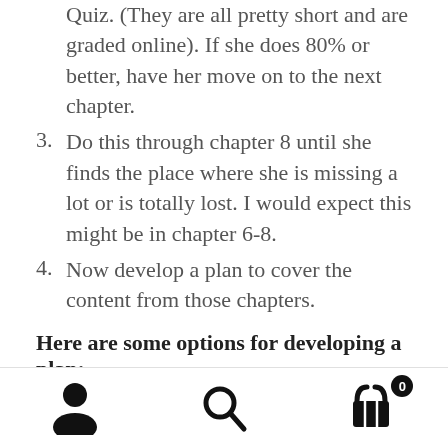Quiz. (They are all pretty short and are graded online). If she does 80% or better, have her move on to the next chapter.
3. Do this through chapter 8 until she finds the place where she is missing a lot or is totally lost. I would expect this might be in chapter 6-8.
4. Now develop a plan to cover the content from those chapters.
Here are some options for developing a plan:
Use the textbook we have (you can use the